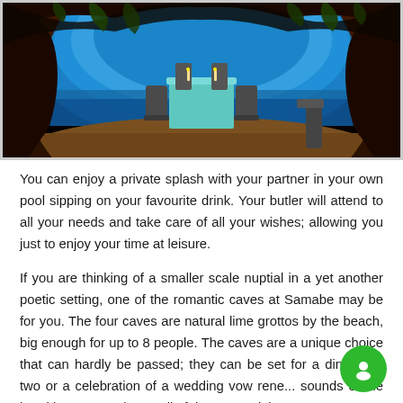[Figure (photo): A romantic dinner table set with teal tablecloth and two chairs inside a natural cave/grotto opening onto a beach with blue ocean and sky visible through the arch-shaped cave entrance. Sandy cave interior with rockformed arch framing the scene.]
You can enjoy a private splash with your partner in your own pool sipping on your favourite drink. Your butler will attend to all your needs and take care of all your wishes; allowing you just to enjoy your time at leisure.
If you are thinking of a smaller scale nuptial in a yet another poetic setting, one of the romantic caves at Samabe may be for you. The four caves are natural lime grottos by the beach, big enough for up to 8 people. The caves are a unique choice that can hardly be passed; they can be set for a dinner for two or a celebration of a wedding vow rene... sounds of the breaking waves, the smell of the sea and the